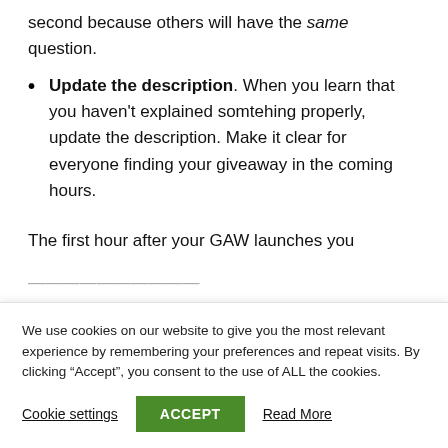second because others will have the same question.
Update the description. When you learn that you haven't explained somtehing properly, update the description. Make it clear for everyone finding your giveaway in the coming hours.
The first hour after your GAW launches you
We use cookies on our website to give you the most relevant experience by remembering your preferences and repeat visits. By clicking “Accept”, you consent to the use of ALL the cookies.
Cookie settings  ACCEPT  Read More